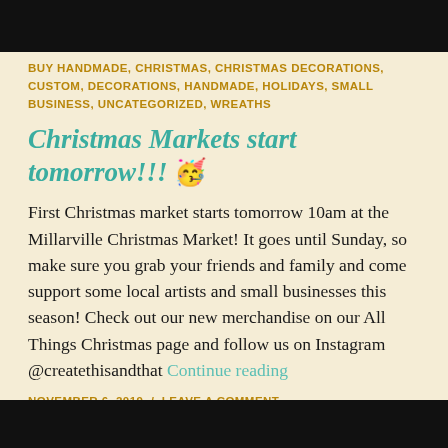BUY HANDMADE, CHRISTMAS, CHRISTMAS DECORATIONS, CUSTOM, DECORATIONS, HANDMADE, HOLIDAYS, SMALL BUSINESS, UNCATEGORIZED, WREATHS
Christmas Markets start tomorrow!!! 🥳
First Christmas market starts tomorrow 10am at the Millarville Christmas Market! It goes until Sunday, so make sure you grab your friends and family and come support some local artists and small businesses this season! Check out our new merchandise on our All Things Christmas page and follow us on Instagram @createthisandthat Continue reading
NOVEMBER 6, 2019  /  LEAVE A COMMENT